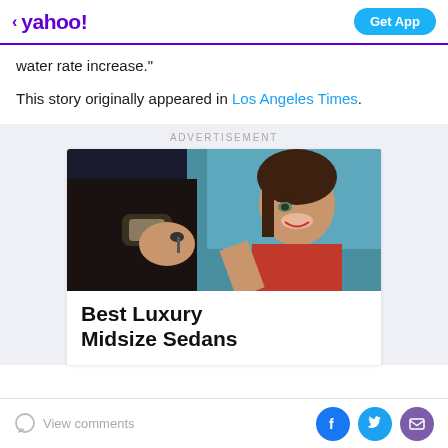< yahoo!   Get App
water rate increase."
This story originally appeared in Los Angeles Times.
ADVERTISEMENT
[Figure (photo): A woman in a red top smiling inside a car, receiving car keys from a hand wearing a watch.]
Best Luxury Midsize Sedans
View comments   [Facebook] [Twitter] [Email]